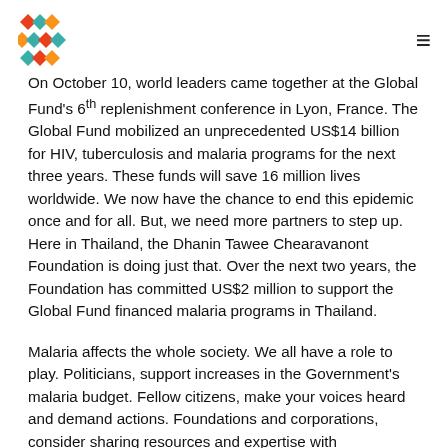[Global Fund logo] [hamburger menu]
On October 10, world leaders came together at the Global Fund's 6th replenishment conference in Lyon, France. The Global Fund mobilized an unprecedented US$14 billion for HIV, tuberculosis and malaria programs for the next three years. These funds will save 16 million lives worldwide. We now have the chance to end this epidemic once and for all. But, we need more partners to step up. Here in Thailand, the Dhanin Tawee Chearavanont Foundation is doing just that. Over the next two years, the Foundation has committed US$2 million to support the Global Fund financed malaria programs in Thailand.
Malaria affects the whole society. We all have a role to play. Politicians, support increases in the Government's malaria budget. Fellow citizens, make your voices heard and demand actions. Foundations and corporations, consider sharing resources and expertise with organizations fighting malaria.
Remember this year: 2030. The deadline we set to end malaria in Thailand and in whole of Asia-Pacific. Together, we will create a historical feat. Together, we will defeat malaria.